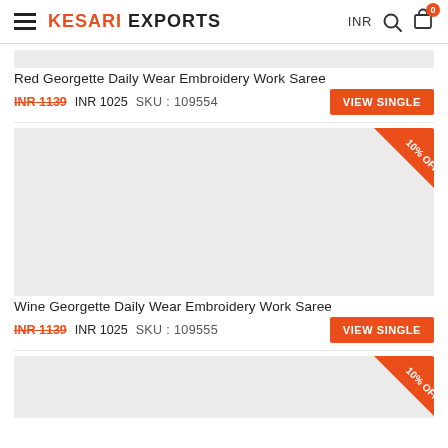KESARI EXPORTS — INR
[Figure (screenshot): Partially visible product image placeholder (gray) with 10% OFF corner badge — Red Georgette saree (cut off at top)]
Red Georgette Daily Wear Embroidery Work Saree
INR 1139  INR 1025   SKU : 109554
[Figure (photo): Product image placeholder (light gray) for Wine Georgette Daily Wear Embroidery Work Saree with 10% OFF corner ribbon badge]
Wine Georgette Daily Wear Embroidery Work Saree
INR 1139  INR 1025   SKU : 109555
[Figure (photo): Partially visible product image placeholder (light gray) with 10% OFF corner ribbon badge — third product, cut off at bottom]